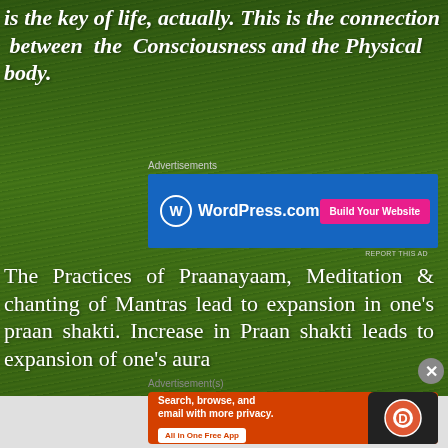is the key of life, actually. This is the connection between the Consciousness and the Physical body.
[Figure (infographic): WordPress.com advertisement banner with blue background, WordPress logo and 'Build Your Website' pink button]
The Practices of Praanayaam, Meditation & chanting of Mantras lead to expansion in one's praan shakti. Increase in Praan shakti leads to expansion of one's aura
[Figure (infographic): DuckDuckGo advertisement banner with orange background showing 'Search, browse, and email with more privacy. All in One Free App' with phone graphic]